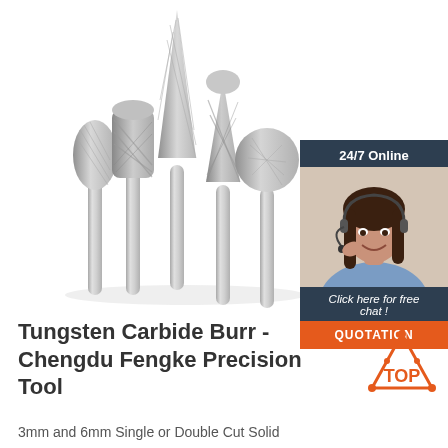[Figure (photo): Five tungsten carbide burr rotary tool bits fanned out, with various shaped heads (oval, cylindrical, pointed cone, tree-shaped, ball), silver metallic finish on white background]
[Figure (infographic): Chat widget with dark navy header '24/7 Online', photo of smiling woman with headset, dark navy text 'Click here for free chat!', orange button 'QUOTATION']
Tungsten Carbide Burr - Chengdu Fengke Precision Tool
[Figure (logo): TOP logo: orange triangle shape with dots and text 'TOP' in orange]
3mm and 6mm Single or Double Cut Solid